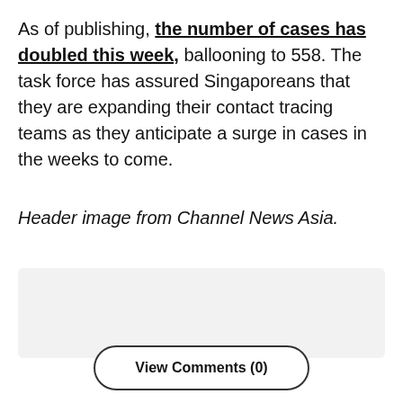As of publishing, the number of cases has doubled this week, ballooning to 558. The task force has assured Singaporeans that they are expanding their contact tracing teams as they anticipate a surge in cases in the weeks to come.
Header image from Channel News Asia.